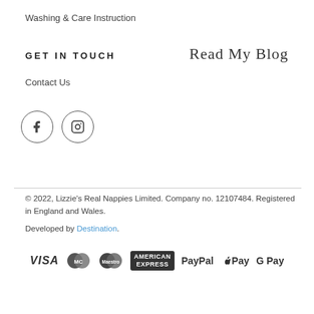Washing & Care Instruction
GET IN TOUCH
[Figure (illustration): Handwritten cursive text reading 'Read My Blog']
Contact Us
[Figure (other): Facebook and Instagram social media icons in circles]
© 2022, Lizzie's Real Nappies Limited. Company no. 12107484. Registered in England and Wales.
Developed by Destination.
[Figure (other): Payment method icons: VISA, MasterCard, Maestro, American Express, PayPal, Apple Pay, G Pay]